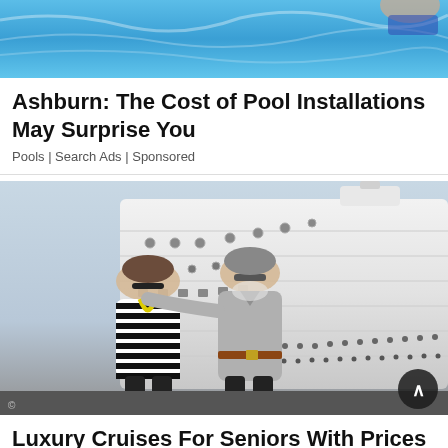[Figure (photo): Pool with blue water and a person visible at the top edge]
Ashburn: The Cost of Pool Installations May Surprise You
Pools | Search Ads | Sponsored
[Figure (photo): Two people (a man and a woman) standing in front of a large cruise ship at a dock]
Luxury Cruises For Seniors With Prices That Will Amaze (Search Before It's Gone)